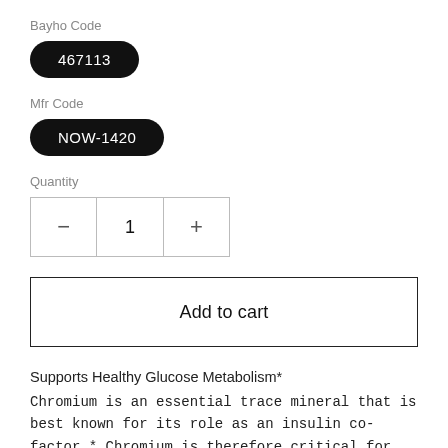Bayho Code
467113
Mfr Code
NOW-1420
Quantity
− 1 +
Add to cart
Supports Healthy Glucose Metabolism*
Chromium is an essential trace mineral that is best known for its role as an insulin co-factor.* Chromium is therefore critical for the maintenance of healthy glucose and carbohydrate metabolism, however, it is also important for the utilization